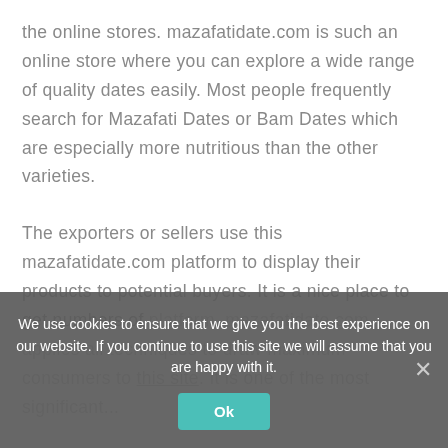the online stores. mazafatidate.com is such an online store where you can explore a wide range of quality dates easily. Most people frequently search for Mazafati Dates or Bam Dates which are especially more nutritious than the other varieties.
The exporters or sellers use this mazafatidate.com platform to display their products to potential buyers. It is a nice place to get numbers of platform. mazafatidate.com applies all techniques to draw maximum consumers to this site. It is one of the most significant...
We use cookies to ensure that we give you the best experience on our website. If you continue to use this site we will assume that you are happy with it.